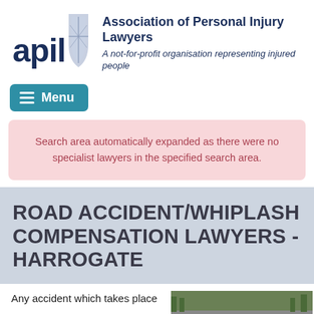[Figure (logo): APIL logo — stylized shield with 'apil' text in dark blue]
Association of Personal Injury Lawyers
A not-for-profit organisation representing injured people
Menu
Search area automatically expanded as there were no specialist lawyers in the specified search area.
ROAD ACCIDENT/WHIPLASH COMPENSATION LAWYERS - HARROGATE
Any accident which takes place
[Figure (photo): Aerial or elevated photo of a motorway/highway with cars]